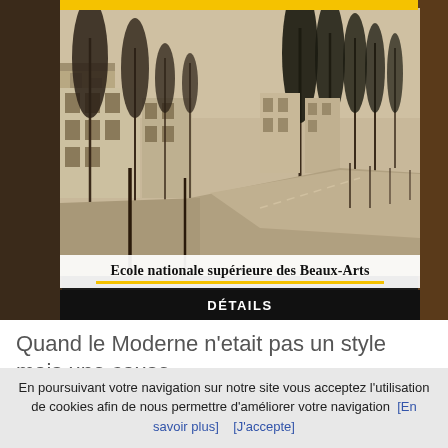[Figure (photo): Sepia-toned black and white historical photograph of a tree-lined street with modernist apartment buildings on the left side and tall pine trees. Caption reads 'Ecole nationale supérieure des Beaux-Arts' with a yellow underline. Below the image is a dark bar with 'DÉTAILS' in white text.]
Quand le Moderne n'etait pas un style mais une cause
En poursuivant votre navigation sur notre site vous acceptez l'utilisation de cookies afin de nous permettre d'améliorer votre navigation [En savoir plus] [J'accepte]